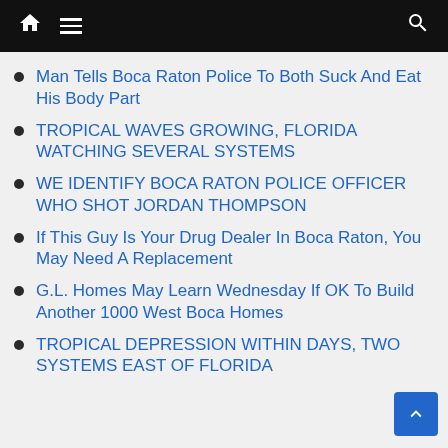Navigation bar with home, menu, and search icons
Man Tells Boca Raton Police To Both Suck And Eat His Body Part
TROPICAL WAVES GROWING, FLORIDA WATCHING SEVERAL SYSTEMS
WE IDENTIFY BOCA RATON POLICE OFFICER WHO SHOT JORDAN THOMPSON
If This Guy Is Your Drug Dealer In Boca Raton, You May Need A Replacement
G.L. Homes May Learn Wednesday If OK To Build Another 1000 West Boca Homes
TROPICAL DEPRESSION WITHIN DAYS, TWO SYSTEMS EAST OF FLORIDA